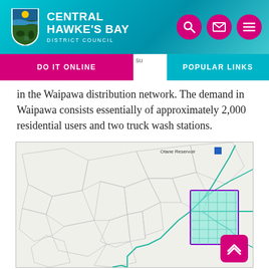Central Hawke's Bay District Council
DO IT ONLINE
POPULAR LINKS
in the Waipawa distribution network. The demand in Waipawa consists essentially of approximately 2,000 residential users and two truck wash stations.
[Figure (map): Map showing the Waipawa distribution network area with Otane Reservoir marked, featuring road networks in grey, water network lines in teal/green, and a highlighted urban area in cyan/teal with purple outline representing the distribution zone.]